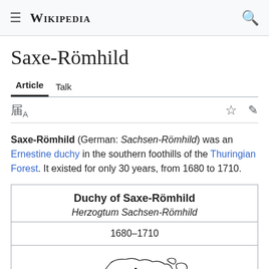Wikipedia
Saxe-Römhild
Article   Talk
Saxe-Römhild (German: Sachsen-Römhild) was an Ernestine duchy in the southern foothills of the Thuringian Forest. It existed for only 30 years, from 1680 to 1710.
| Duchy of Saxe-Römhild |
| --- |
| Herzogtum Sachsen-Römhild |
| 1680–1710 |
| [map image] |
[Figure (map): Historical map showing the territory of Saxe-Römhild, a small duchy region in Thuringia, Germany]